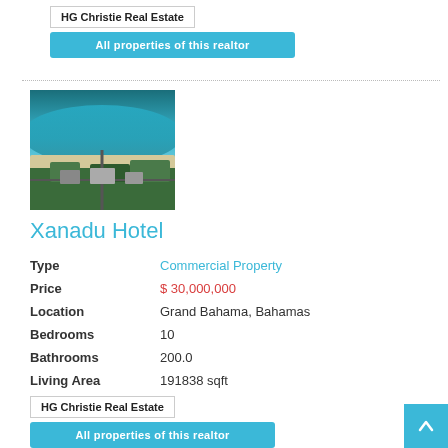HG Christie Real Estate
All properties of this realtor
[Figure (photo): Aerial view of Xanadu Hotel property showing beach, turquoise water, and lush greenery]
Xanadu Hotel
| Field | Value |
| --- | --- |
| Type | Commercial Property |
| Price | $ 30,000,000 |
| Location | Grand Bahama, Bahamas |
| Bedrooms | 10 |
| Bathrooms | 200.0 |
| Living Area | 191838 sqft |
HG Christie Real Estate
All properties of this realtor